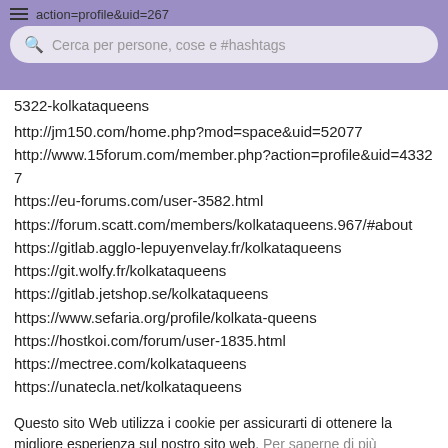action=profile&uid=267
Cerca per persone, cose e #hashtags
5322-kolkataqueens
http://jm150.com/home.php?mod=space&uid=52077
http://www.15forum.com/member.php?action=profile&uid=43327
https://eu-forums.com/user-3582.html
https://forum.scatt.com/members/kolkataqueens.967/#about
https://gitlab.agglo-lepuyenvelay.fr/kolkataqueens
https://git.wolfy.fr/kolkataqueens
https://gitlab.jetshop.se/kolkataqueens
https://www.sefaria.org/profile/kolkata-queens
https://hostkoi.com/forum/user-1835.html
https://mectree.com/kolkataqueens
https://unatecla.net/kolkataqueens
Questo sito Web utilizza i cookie per assicurarti di ottenere la migliore esperienza sul nostro sito web. Per saperne di più
Fatto!